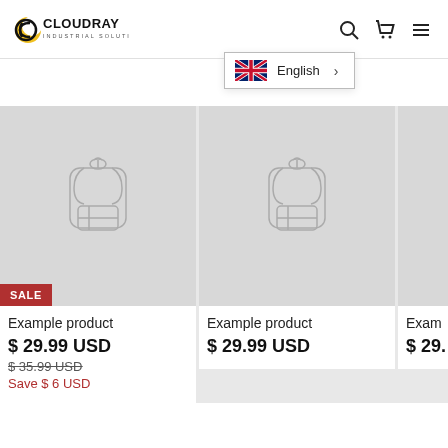[Figure (logo): Cloudray Industrial Solutions logo with moon/C icon in black and yellow]
[Figure (screenshot): Navigation icons: search, cart, hamburger menu]
[Figure (infographic): Language dropdown showing UK flag and English option with chevron]
[Figure (illustration): Product card 1 with backpack illustration on gray background, SALE badge]
Example product
$ 29.99 USD
$ 35.99 USD (strikethrough)
Save $ 6 USD
[Figure (illustration): Product card 2 with backpack illustration on gray background]
Example product
$ 29.99 USD
[Figure (illustration): Partial product card 3 with backpack illustration, partially visible]
Exam
$ 29.